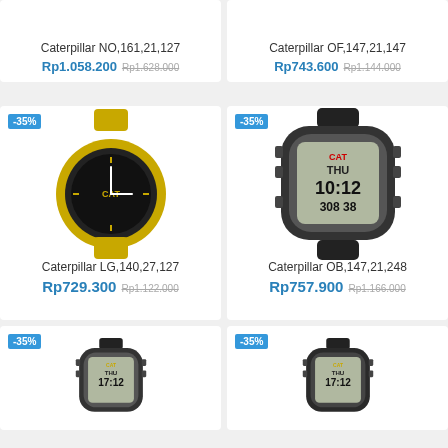Caterpillar NO,161,21,127
Rp1.058.200 Rp1.628.000
Caterpillar OF,147,21,147
Rp743.600 Rp1.144.000
[Figure (photo): Yellow Caterpillar analog watch with black dial and yellow rubber strap, -35% badge]
Caterpillar LG,140,27,127
Rp729.300 Rp1.122.000
[Figure (photo): Black Caterpillar digital watch showing THU 10:12 308 38, -35% badge]
Caterpillar OB,147,21,248
Rp757.900 Rp1.166.000
[Figure (photo): Black Caterpillar digital watch, -35% badge, partial view]
[Figure (photo): Black Caterpillar digital watch, -35% badge, partial view]